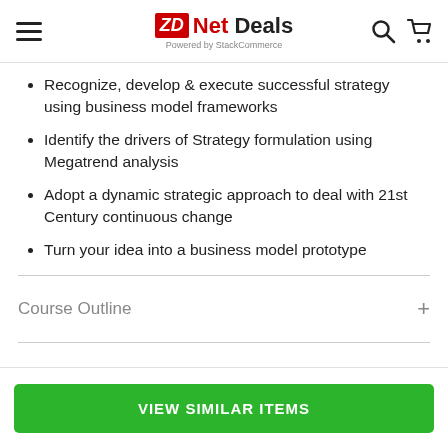ZDNet Deals Powered by StackCommerce
Recognize, develop & execute successful strategy using business model frameworks
Identify the drivers of Strategy formulation using Megatrend analysis
Adopt a dynamic strategic approach to deal with 21st Century continuous change
Turn your idea into a business model prototype
Course Outline
VIEW SIMILAR ITEMS